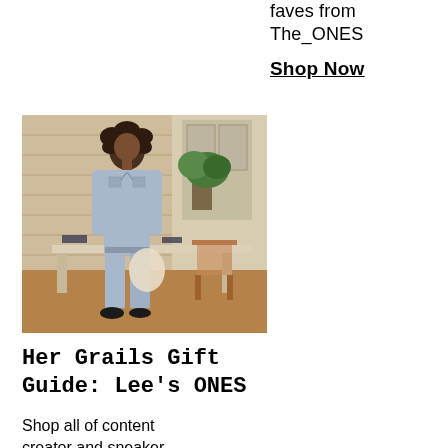faves from The_ONES
Shop Now
[Figure (photo): Woman in denim jumpsuit standing beside a dining table with chairs, brick wall and plant in background, indoors.]
Her Grails Gift Guide: Lee's ONES
Shop all of content creator and sneaker head, @IKnowLee's